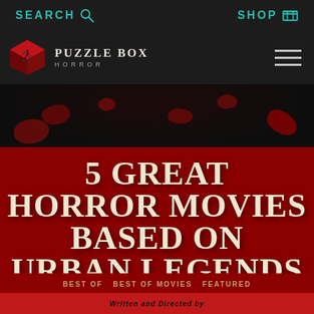SEARCH  SHOP
[Figure (logo): Puzzle Box Horror logo: red cube icon with snake design, text PUZZLE BOX HORROR]
5 GREAT HORROR MOVIES BASED ON URBAN LEGENDS
BEST OF  BEST OF MOVIES  FEATURED  HORROR MYSTERY AND LORE
Written and Directed by